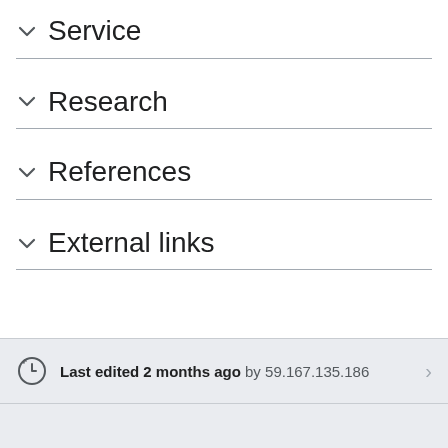Service
Research
References
External links
Last edited 2 months ago by 59.167.135.186